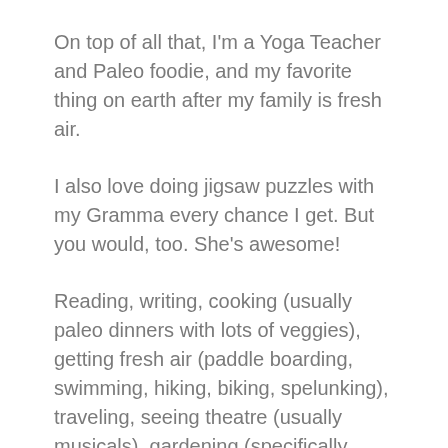On top of all that, I'm a Yoga Teacher and Paleo foodie, and my favorite thing on earth after my family is fresh air.
I also love doing jigsaw puzzles with my Gramma every chance I get. But you would, too. She's awesome!
Reading, writing, cooking (usually paleo dinners with lots of veggies), getting fresh air (paddle boarding, swimming, hiking, biking, spelunking), traveling, seeing theatre (usually musicals), gardening (specifically growing stuff I can eat like herbs), animal rescue, orphan (kids) rescue, home decor / reno, writing, doing yoga WHILE traveling, going to museums,